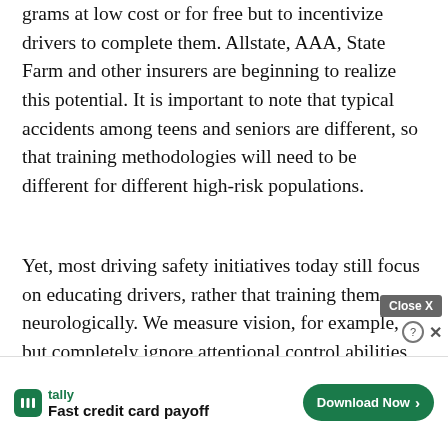grams at low cost or for free but to incentivize drivers to complete them. Allstate, AAA, State Farm and other insurers are beginning to realize this potential. It is important to note that typical accidents among teens and seniors are different, so that training methodologies will need to be different for different high-risk populations.
Yet, most driving safety initiatives today still focus on educating drivers, rather that training them neurologically. We measure vision, for example, but completely ignore attentional control abilities, or a driver's useful field of view. I expect this to change significantly over the next few years.
Long-term care and health insurance comp will ultim t they
[Figure (other): Advertisement banner overlay: Tally app ad with green logo, 'Fast credit card payoff' text, and 'Download Now' button. Also shows a 'Close X' button overlay in gray and help/close icons.]